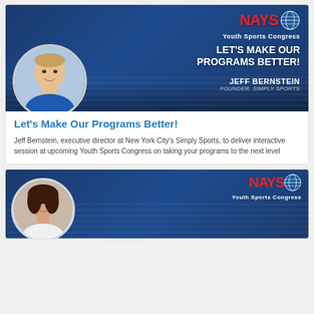[Figure (photo): NAYS Youth Sports Congress promotional banner featuring Jeff Bernstein, Founder of Simply Sports, with text 'LET'S MAKE OUR PROGRAMS BETTER!']
Let's Make Our Programs Better!
Jeff Bernstein, executive director at New York City's Simply Sports, to deliver interactive session at upcoming Youth Sports Congress on taking your programs to the next level
[Figure (photo): NAYS 2022 Youth Sports Congress promotional banner featuring a woman speaker]